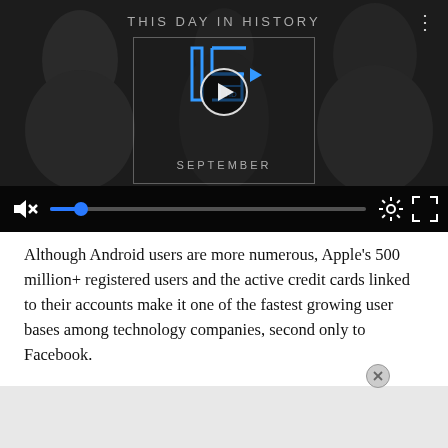[Figure (screenshot): Video player showing 'This Day in History' with a play button overlay, a '15 September' logo graphic, video controls bar with mute icon, blue progress dot, gear/settings icon, and fullscreen icon. Dark background with people silhouettes.]
Although Android users are more numerous, Apple's 500 million+ registered users and the active credit cards linked to their accounts make it one of the fastest growing user bases among technology companies, second only to Facebook.
With 600 million registered users forecasted by the end of 2013, Apple's has several potential monetization scenarios... mobile payments... [partially obscured by gray overlay]